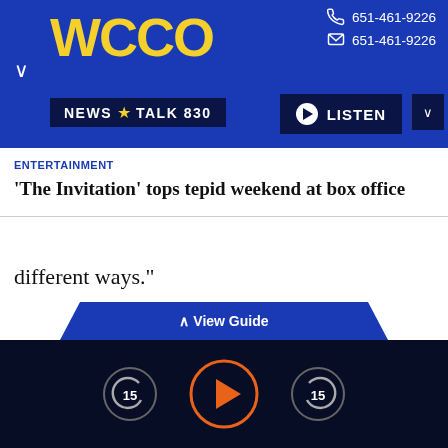[Figure (screenshot): WCCO News Talk 830 radio app header with logo in yellow on blue background, phone numbers 651-461-9226 shown twice with phone/chat icons, and a Listen button]
ENTERTAINMENT
'The Invitation' tops tepid weekend at box office
different ways."
“You know why he said that,” McCormick says in the TV ad. “Because it’s true. I risked my life for America and I’d do it again in a heartbeat. … I’m a pro-life, pro-gun, America First conservative and
View Guide
[Figure (screenshot): Audio player controls with skip-back 15 seconds button, main play button (orange circle), and skip-forward 15 seconds button on dark navy background]